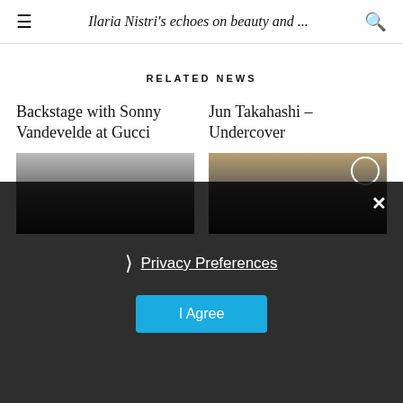Ilaria Nistri's echoes on beauty and ...
RELATED NEWS
Backstage with Sonny Vandevelde at Gucci
Jun Takahashi – Undercover
[Figure (photo): Photo for Backstage with Sonny Vandevelde at Gucci article]
[Figure (photo): Photo for Jun Takahashi – Undercover article]
Privacy Preferences
I Agree